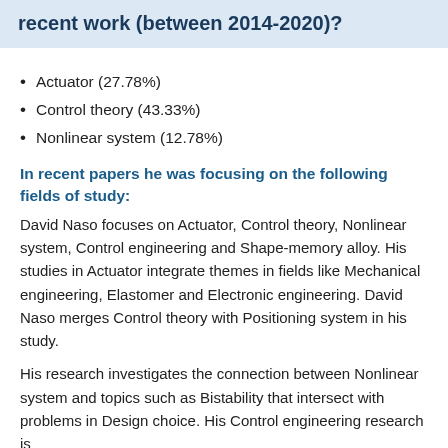recent work (between 2014-2020)?
Actuator (27.78%)
Control theory (43.33%)
Nonlinear system (12.78%)
In recent papers he was focusing on the following fields of study:
David Naso focuses on Actuator, Control theory, Nonlinear system, Control engineering and Shape-memory alloy. His studies in Actuator integrate themes in fields like Mechanical engineering, Elastomer and Electronic engineering. David Naso merges Control theory with Positioning system in his study.
His research investigates the connection between Nonlinear system and topics such as Bistability that intersect with problems in Design choice. His Control engineering research is